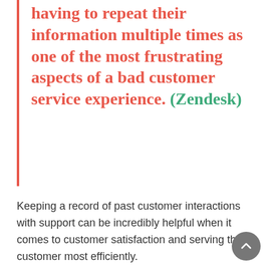having to repeat their information multiple times as one of the most frustrating aspects of a bad customer service experience. (Zendesk)
Keeping a record of past customer interactions with support can be incredibly helpful when it comes to customer satisfaction and serving the customer most efficiently.
Not only will you get to a point of resolution more quickly for them, but by being armed with this additional context you will be able to...